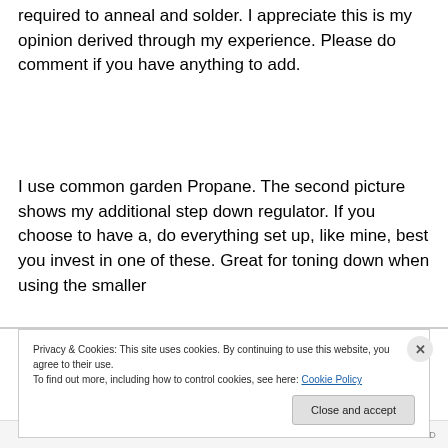required to anneal and solder. I appreciate this is my opinion derived through my experience. Please do comment if you have anything to add.
I use common garden Propane. The second picture shows my additional step down regulator. If you choose to have a, do everything set up, like mine, best you invest in one of these. Great for toning down when using the smaller
Privacy & Cookies: This site uses cookies. By continuing to use this website, you agree to their use.
To find out more, including how to control cookies, see here: Cookie Policy
Close and accept